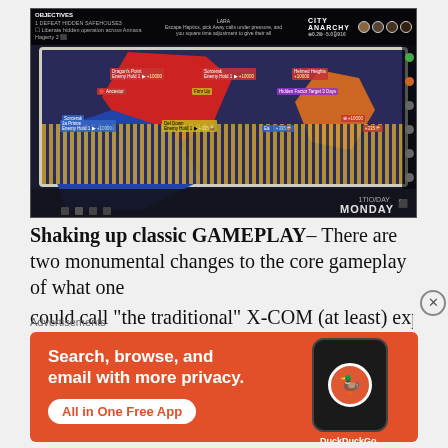[Figure (screenshot): Video game screenshot showing a 3D tactical city map table with colored territory regions (red, blue, orange, yellow building clusters). HUD elements visible including objectives panel top-left, city name 'CITY ANARCHY' top-right, and 'MONDAY' day indicator bottom-right. Side icon bar on the right edge.]
Shaking up classic GAMEPLAY– There are two monumental changes to the core gameplay of what one could call "the traditional" X-COM (at least) experience...
Advertisements
[Figure (screenshot): DuckDuckGo advertisement banner with orange background. Text reads: 'Search, browse, and email with more privacy.' with 'All in One Free App' button. Right side shows a stylized smartphone with DuckDuckGo logo and brand name.]